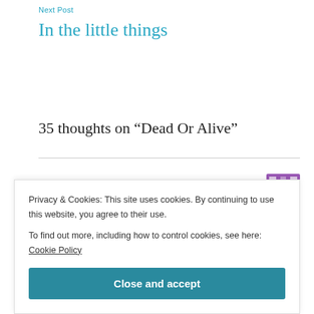Next Post
In the little things
35 thoughts on “Dead Or Alive”
Medinho
April 27, 2020 at 7:30 am
Privacy & Cookies: This site uses cookies. By continuing to use this website, you agree to their use.
To find out more, including how to control cookies, see here: Cookie Policy
Close and accept